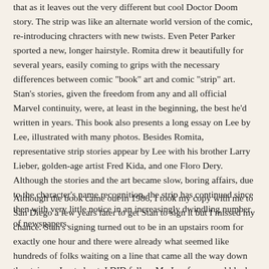that as it leaves out the very different but cool Doctor Doom story. The strip was like an alternate world version of the comic, re-introducing chracters with new twists. Even Peter Parker sported a new, longer hairstyle. Romita drew it beautifully for several years, easily coming to grips with the necessary differences between comic "book" art and comic "strip" art. Stan's stories, given the freedom from any and all official Marvel continuity, were, at least in the beginning, the best he'd written in years. This book also presents a long essay on Lee by Lee, illustrated with many photos. Besides Romita, representative strip stories appear by Lee with his brother Larry Lieber, golden-age artist Fred Kida, and one Floro Dery. Although the stories and the art became slow, boring affairs, due to the character's name recognition, the strip has continued since then with very little notice in an increasingly dwindling number of newspapers.
Although the book came out in 1986, I took my copy with me to San Diego a few years later to get Stan to sign it but I missed my chance. Stan's signing turned out to be in an upstairs room for exactly one hour and there were already what seemed like hundreds of folks waiting on a line that came all the way down the stairs so I opted out. I DID follow Mr. Lee for several blocks later that day as we all trekked to another signing event.